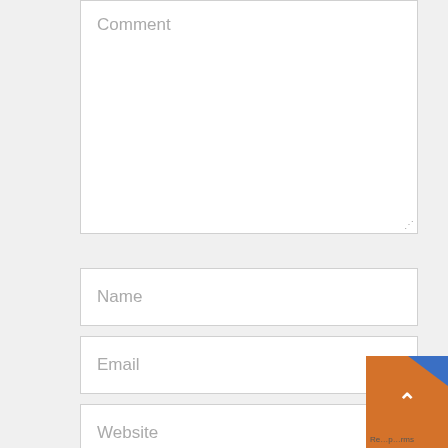[Figure (screenshot): Web form screenshot showing a Comment textarea with placeholder text 'Comment', followed by input fields with placeholders 'Name', 'Email', and 'Website'. An orange back-to-top button overlay appears in the bottom-right corner.]